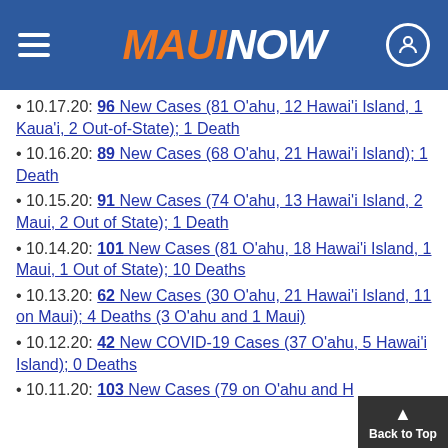MAUI NOW
10.17.20: 96 New Cases (81 O'ahu, 12 Hawai'i Island, 1 Kaua'i, 2 Out-of-State); 1 Death
10.16.20: 89 New Cases (68 O'ahu, 21 Hawai'i Island); 1 Death
10.15.20: 91 New Cases (74 O'ahu, 13 Hawai'i Island, 2 Maui, 2 Out of State); 1 Death
10.14.20: 101 New Cases (81 O'ahu, 18 Hawai'i Island, 1 Maui, 1 Out of State); 10 Deaths
10.13.20: 62 New Cases (30 O'ahu, 21 Hawai'i Island, 11 on Maui); 4 Deaths (3 O'ahu and 1 Maui)
10.12.20: 42 New COVID-19 Cases (37 O'ahu, 5 Hawai'i Island); 0 Deaths
10.11.20: 103 New Cases (79 on O'ahu and ... Hawai'i Island)